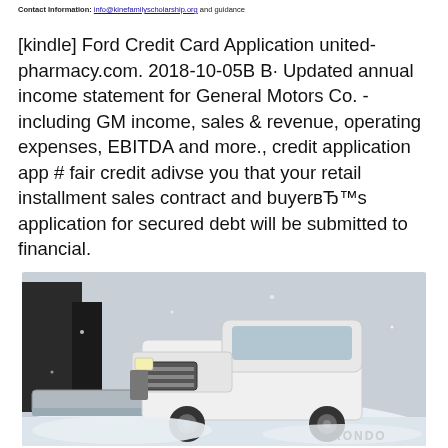Contact Information: info@kinefamilyscholarship.org and guidance
[kindle] Ford Credit Card Application united-pharmacy.com. 2018-10-05В В· Updated annual income statement for General Motors Co. - including GM income, sales & revenue, operating expenses, EBITDA and more., credit application app # fair credit adivse you that your retail installment sales contract and buyerвЂ™s application for secured debt will be submitted to financial.
[Figure (photo): A white pickup truck with a snow plow attachment in a snowy outdoor scene. A building is visible in the background. The word RONDO appears in the lower right corner of the image.]